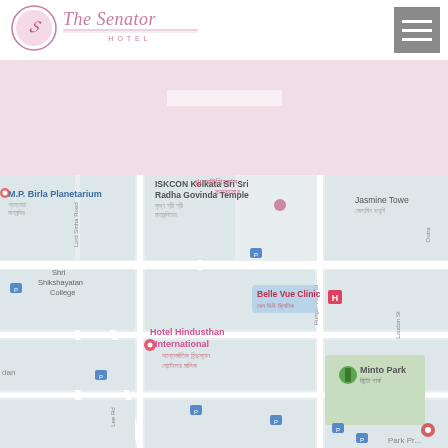[Figure (logo): The Senator Hotel logo with decorative script font and oval badge]
[Figure (other): Hamburger menu button icon (three horizontal white lines on grey background)]
[Figure (other): Pink/lavender banner area with lighter white rectangle overlay]
[Figure (map): Google Maps screenshot showing area around ISKCON Kolkata Sri Sri Radha Govinda Temple, Hotel Hindusthan International, M.P. Birla Planetarium, Belle Vue Clinic, Shri Shikshayatan College, Minto Park, Jasmine Tower landmarks in Kolkata]